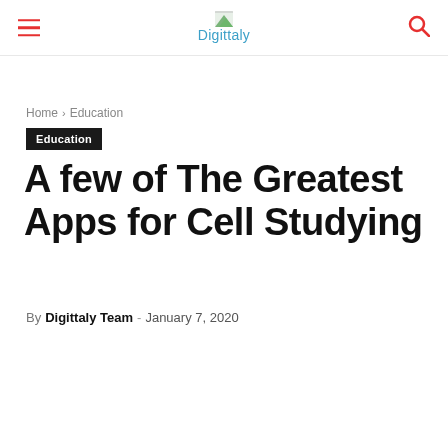Digittaly
Home › Education
Education
A few of The Greatest Apps for Cell Studying
By Digittaly Team - January 7, 2020